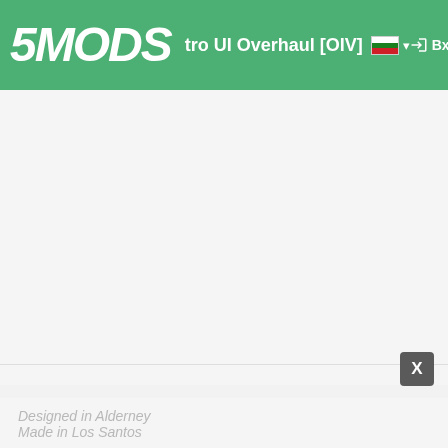5MODS — ...tro UI Overhaul [OIV] — Вход
[Figure (screenshot): Large blank/white content area in the middle of the page, part of a web application (5mods.com mod page)]
Designed in Alderney
Made in Los Santos